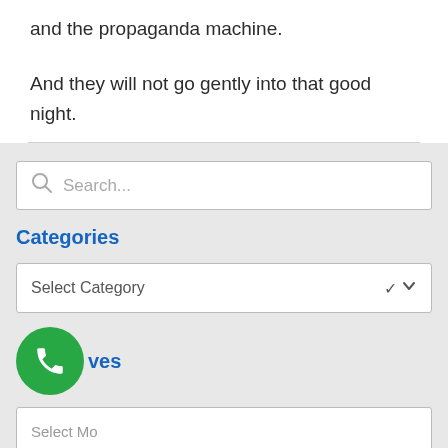and the propaganda machine.
And they will not go gently into that good night.
[Figure (screenshot): Website sidebar UI with search box, Categories dropdown, Archives section header with phone icon, and partial Select Month dropdown]
Categories
ves